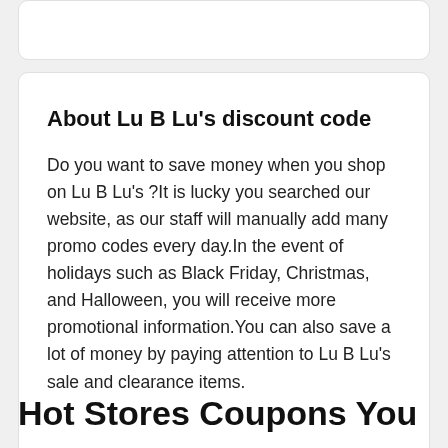About Lu B Lu's discount code
Do you want to save money when you shop on Lu B Lu's ?It is lucky you searched our website, as our staff will manually add many promo codes every day.In the event of holidays such as Black Friday, Christmas, and Halloween, you will receive more promotional information.You can also save a lot of money by paying attention to Lu B Lu's sale and clearance items.
Hot Stores Coupons You